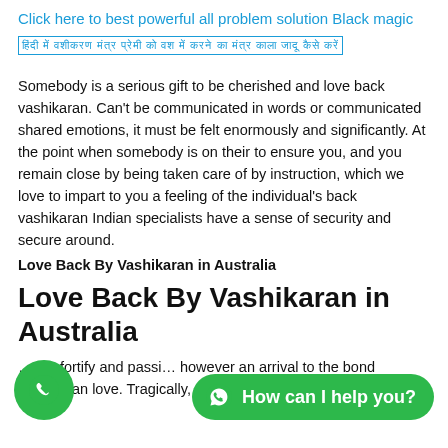Click here to best powerful all problem solution Black magic
हिंदी में वशीकरण मंत्र प्रेमी को वश में करने का मंत्र काला जादू कैसे करें
Somebody is a serious gift to be cherished and love back vashikaran. Can't be communicated in words or communicated shared emotions, it must be felt enormously and significantly. At the point when somebody is on their to ensure you, and you remain close by being taken care of by instruction, which we love to impart to you a feeling of the individual's back vashikaran Indian specialists have a sense of security and secure around.
Love Back By Vashikaran in Australia
Love Back By Vashikaran in Australia
...can fortify and passion however an arrival to the bond vashikaran love. Tragically, all